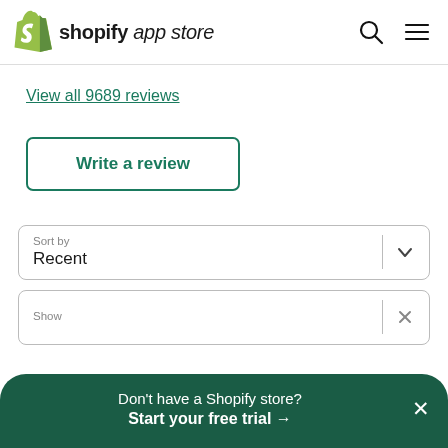shopify app store
View all 9689 reviews
Write a review
Sort by
Recent
Show
Don't have a Shopify store?
Start your free trial →